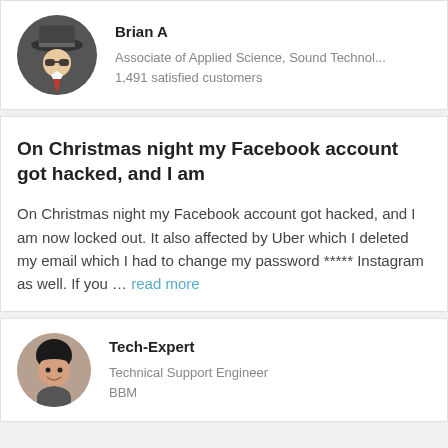Brian A
Associate of Applied Science, Sound Technol...
1,491 satisfied customers
On Christmas night my Facebook account got hacked, and I am
On Christmas night my Facebook account got hacked, and I am now locked out. It also affected by Uber which I deleted my email which I had to change my password ***** Instagram as well. If you … read more
Tech-Expert
Technical Support Engineer
BBM